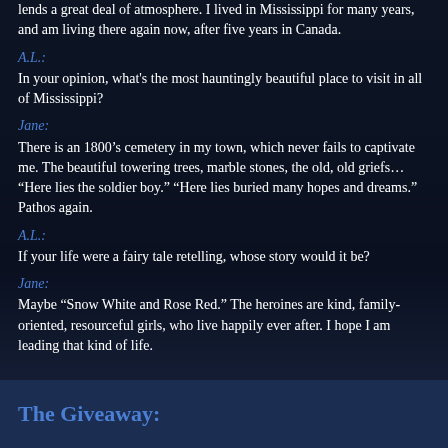lends a great deal of atmosphere. I lived in Mississippi for many years, and am living there again now, after five years in Canada.
A.L.:
In your opinion, what's the most hauntingly beautiful place to visit in all of Mississippi?
Jane:
There is an 1800’s cemetery in my town, which never fails to captivate me. The beautiful towering trees, marble stones, the old, old griefs… “Here lies the soldier boy.” “Here lies buried many hopes and dreams.” Pathos again.
A.L.:
If your life were a fairy tale retelling, whose story would it be?
Jane:
Maybe “Snow White and Rose Red.” The heroines are kind, family-oriented, resourceful girls, who live happily ever after. I hope I am leading that kind of life.
The Giveaway: